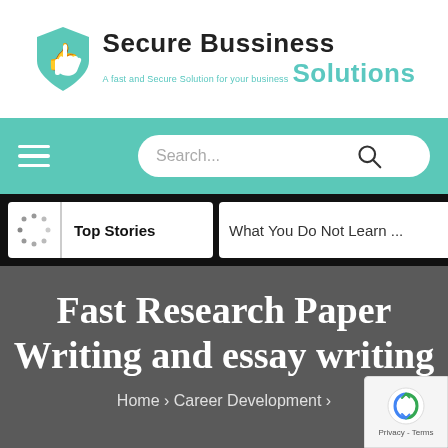[Figure (logo): Secure Bussiness Solutions logo with teal shield/thumbs-up icon and company name]
[Figure (screenshot): Navigation bar with hamburger menu on left and search box on right, teal background]
[Figure (screenshot): Black ticker bar with 'Top Stories' white box and 'What You Do Not Learn ...' white box]
Fast Research Paper Writing and essay writing
Home › Career Development ›